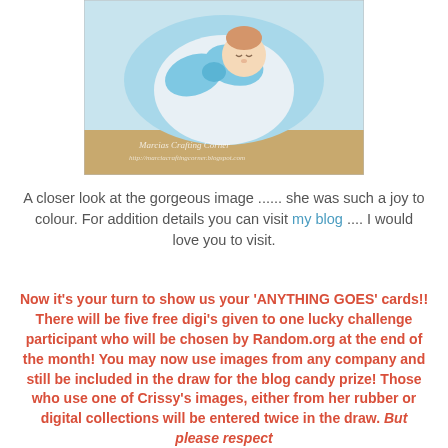[Figure (illustration): Close-up illustration of a baby sleeping figure with a blue bow/blanket, watermark text 'Marcias Crafting Corner' and 'http://marciacraftingcorner.blogspot.com']
A closer look at the gorgeous image ...... she was such a joy to colour. For addition details you can visit my blog .... I would love you to visit.
Now it's your turn to show us your 'ANYTHING GOES' cards!! There will be five free digi's given to one lucky challenge participant who will be chosen by Random.org at the end of the month! You may now use images from any company and still be included in the draw for the blog candy prize! Those who use one of Crissy's images, either from her rubber or digital collections will be entered twice in the draw. But please respect